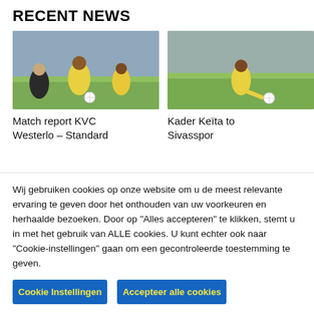RECENT NEWS
[Figure (photo): Football match photo: players in yellow and black kits competing for the ball on a pitch]
[Figure (photo): Football player in yellow kit kicking a ball on a pitch]
Match report KVC Westerlo – Standard
Kader Keïta to Sivasspor
Wij gebruiken cookies op onze website om u de meest relevante ervaring te geven door het onthouden van uw voorkeuren en herhaalde bezoeken. Door op "Alles accepteren" te klikken, stemt u in met het gebruik van ALLE cookies. U kunt echter ook naar "Cookie-instellingen" gaan om een gecontroleerde toestemming te geven.
Cookie Instellingen
Accepteer alle cookies